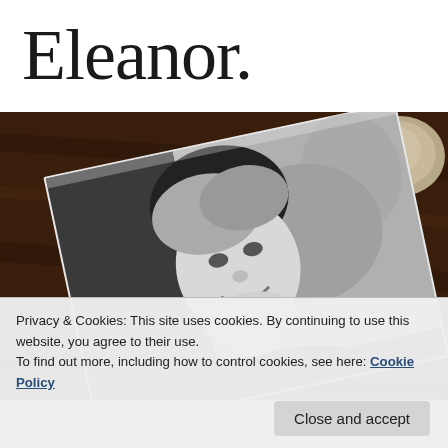Eleanor.
[Figure (photo): A black-and-white photograph of an elderly smiling woman placed on a dark wooden table. A rounded stone object is visible in the upper right corner. The photo is slightly tilted.]
Privacy & Cookies: This site uses cookies. By continuing to use this website, you agree to their use.
To find out more, including how to control cookies, see here: Cookie Policy
Close and accept